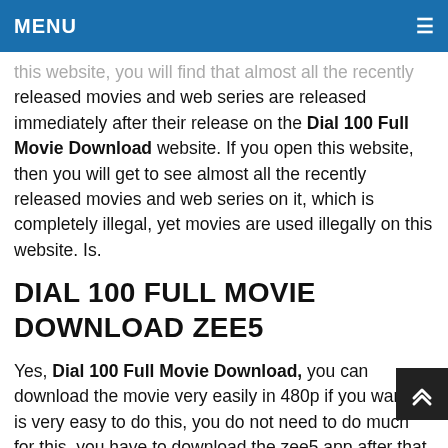MENU
this website, you will find that almost all the recently released movies and web series are released immediately after their release on the Dial 100 Full Movie Download website. If you open this website, then you will get to see almost all the recently released movies and web series on it, which is completely illegal, yet movies are used illegally on this website. Is.
DIAL 100 FULL MOVIE DOWNLOAD ZEE5
Yes, Dial 100 Full Movie Download, you can download the movie very easily in 480p if you want, it is very easy to do this, you do not need to do much for this, you have to download the zee5 app after that you have to download it. Monthly rechar will have to be done, after which you will get to see